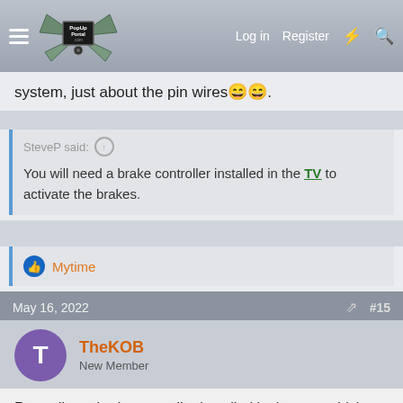PopUpPortal.com — Log in | Register
system, just about the pin wires 😄😄.
SteveP said: You will need a brake controller installed in the TV to activate the brakes.
Likes: Mytime
May 16, 2022  #15
TheKOB — New Member
Regarding a brake controller installed in the tow vehicle, I'd recommend the Curt Echo unit, which we used for our 2004 Taos and didn't actually need to be installed....it plugs between